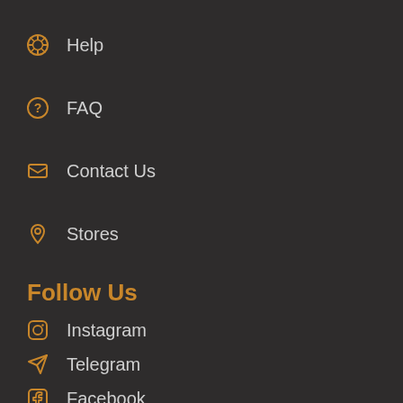Help
FAQ
Contact Us
Stores
Follow Us
Instagram
Telegram
Facebook